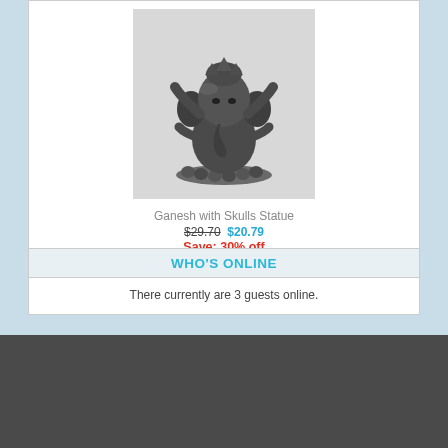[Figure (photo): Ganesh with Skulls Statue – a dark metallic figurine of the Hindu deity Ganesha seated on a base decorated with skulls, with multiple arms raised]
Ganesh with Skulls Statue
$29.70  $20.79
Save: 30% off
WHO'S ONLINE
There currently are 3 guests online.
[Figure (logo): Facebook, Pinterest, and Google+ social media icons]
Copyright © 2022   Catching Angels . Powered by  Zen Cart .  Responsive Zen cart templates by Picaflor Azul.